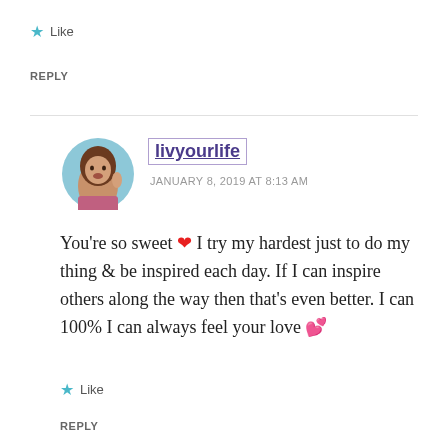★ Like
REPLY
livyourlife
JANUARY 8, 2019 AT 8:13 AM
You're so sweet ❤ I try my hardest just to do my thing & be inspired each day. If I can inspire others along the way then that's even better. I can 100% I can always feel your love 💕
★ Like
REPLY